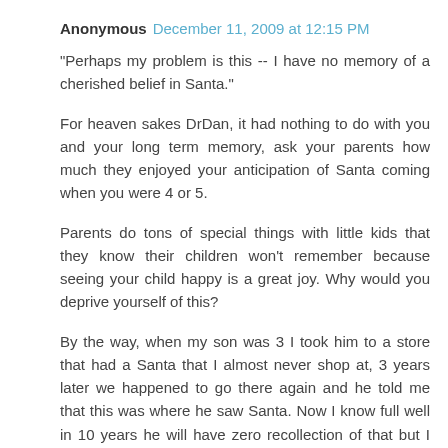Anonymous  December 11, 2009 at 12:15 PM
"Perhaps my problem is this -- I have no memory of a cherished belief in Santa."
For heaven sakes DrDan, it had nothing to do with you and your long term memory, ask your parents how much they enjoyed your anticipation of Santa coming when you were 4 or 5.
Parents do tons of special things with little kids that they know their children won't remember because seeing your child happy is a great joy. Why would you deprive yourself of this?
By the way, when my son was 3 I took him to a store that had a Santa that I almost never shop at, 3 years later we happened to go there again and he told me that this was where he saw Santa. Now I know full well in 10 years he will have zero recollection of that but I wasn't aware it had such an impact on him them, otherwise I would have made it a point to go every year. As it was at 3 he seemed scared so I kind of let that aspect go.